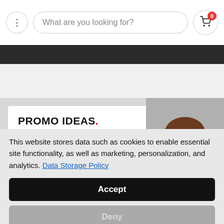What are you looking for?
[Figure (screenshot): Promo banner with woman working on laptop. Text: PROMO IDEAS. Keep up to date with the latest news and trends!]
This website stores data such as cookies to enable essential site functionality, as well as marketing, personalization, and analytics. Data Storage Policy
Accept
Deny